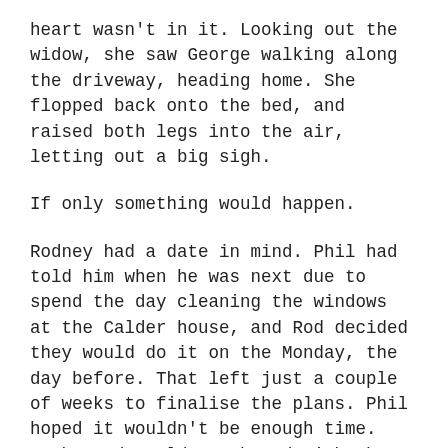heart wasn't in it. Looking out the widow, she saw George walking along the driveway, heading home. She flopped back onto the bed, and raised both legs into the air, letting out a big sigh.
If only something would happen.
Rodney had a date in mind. Phil had told him when he was next due to spend the day cleaning the windows at the Calder house, and Rod decided they would do it on the Monday, the day before. That left just a couple of weeks to finalise the plans. Phil hoped it wouldn't be enough time. Maybe Rod would get bored with the idea, realise how hard it would be, and just forget the plan completely. They would laugh about it over beers and pizza, next time they